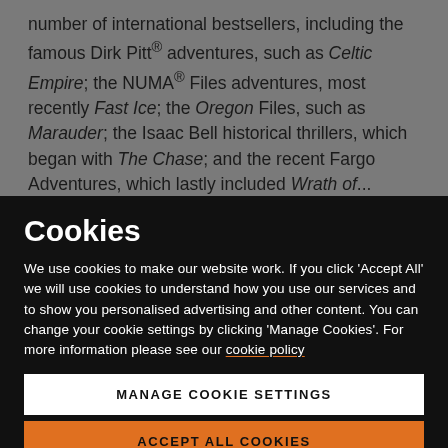number of international bestsellers, including the famous Dirk Pitt® adventures, such as Celtic Empire; the NUMA® Files adventures, most recently Fast Ice; the Oregon Files, such as Marauder; the Isaac Bell historical thrillers, which began with The Chase; and the recent Fargo Adventures, which lastly included Wrath of...
Cookies
We use cookies to make our website work. If you click 'Accept All' we will use cookies to understand how you use our services and to show you personalised advertising and other content. You can change your cookie settings by clicking 'Manage Cookies'. For more information please see our cookie policy
MANAGE COOKIE SETTINGS
ACCEPT ALL COOKIES